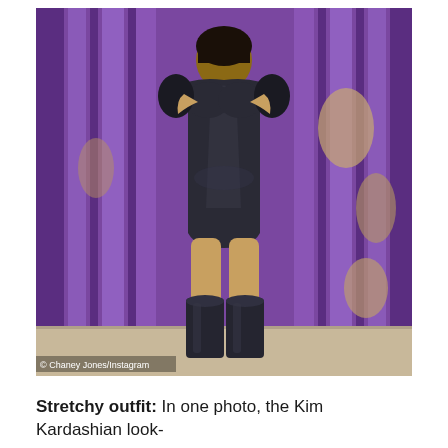[Figure (photo): A woman wearing a dark tight latex/leather off-shoulder bodysuit and dark knee-high boots, standing in front of a purple slatted wall background. She has dark hair and is posing with her hands raised. Photo credited to Cheney Jones/Instagram.]
Stretchy outfit: In one photo, the Kim Kardashian look-